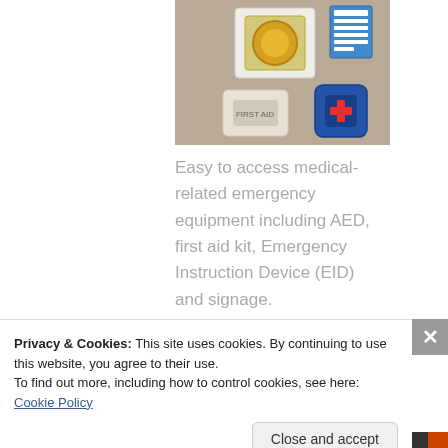[Figure (photo): Photo of wall-mounted medical emergency equipment including AED (Automated External Defibrillator), first aid kit, Emergency Instruction Device (EID), and signage mounted on a beige wall.]
Easy to access medical-related emergency equipment including AED, first aid kit, Emergency Instruction Device (EID) and signage.
Privacy & Cookies: This site uses cookies. By continuing to use this website, you agree to their use. To find out more, including how to control cookies, see here: Cookie Policy